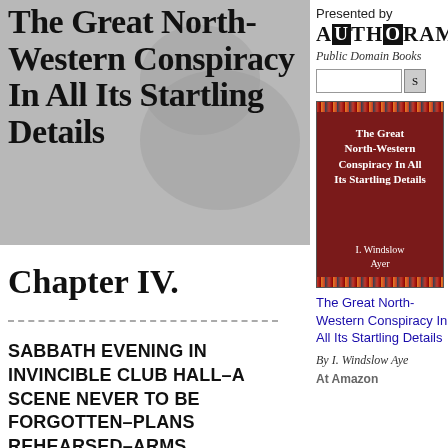The Great North-Western Conspiracy In All Its Startling Details
Chapter IV.
Presented by AUTHORAMA Public Domain Books
[Figure (illustration): Book cover of The Great North-Western Conspiracy In All Its Startling Details by I. Windslow Ayer, dark red cover with decorative border]
The Great North-Western Conspiracy In All Its Startling Details
By I. Windslow Ayer
At Amazon
SABBATH EVENING IN INVINCIBLE CLUB HALL–A SCENE NEVER TO BE FORGOTTEN–PLANS REHEARSED–ARMS INSPECTED–REPORT OF THE BRIG.-GEN. OF THE SONS OF LIBERTY–